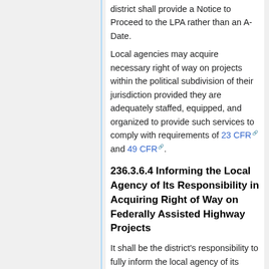district shall provide a Notice to Proceed to the LPA rather than an A-Date.
Local agencies may acquire necessary right of way on projects within the political subdivision of their jurisdiction provided they are adequately staffed, equipped, and organized to provide such services to comply with requirements of 23 CFR and 49 CFR.
236.3.6.4 Informing the Local Agency of Its Responsibility in Acquiring Right of Way on Federally Assisted Highway Projects
It shall be the district's responsibility to fully inform the local agency of its responsibility to comply with the requirements of 23 CFR and 49 CFR